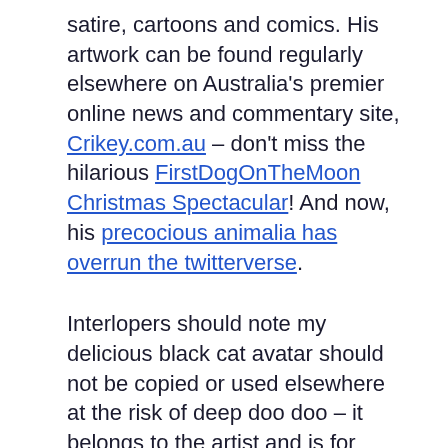satire, cartoons and comics. His artwork can be found regularly elsewhere on Australia's premier online news and commentary site, Crikey.com.au – don't miss the hilarious FirstDogOnTheMoon Christmas Spectacular! And now, his precocious animalia has overrun the twitterverse.
Interlopers should note my delicious black cat avatar should not be copied or used elsewhere at the risk of deep doo doo – it belongs to the artist and is for *my* use.
Again thanks, FirstDog – your work is treasured!